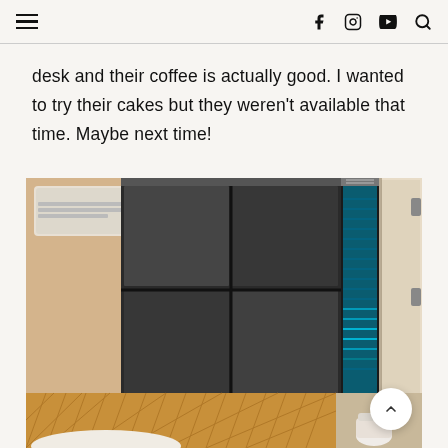≡   f  ⊙  ▶  🔍
desk and their coffee is actually good. I wanted to try their cakes but they weren't available that time. Maybe next time!
[Figure (photo): Interior photo of a small hotel room or capsule-style room showing a wall-mounted air conditioning unit, a large dark-framed sliding mirror panel, a narrow window with blue light visible, an open door with hinges, a yellow quilted headboard, white pillow, and a toilet visible in a compact bathroom area.]